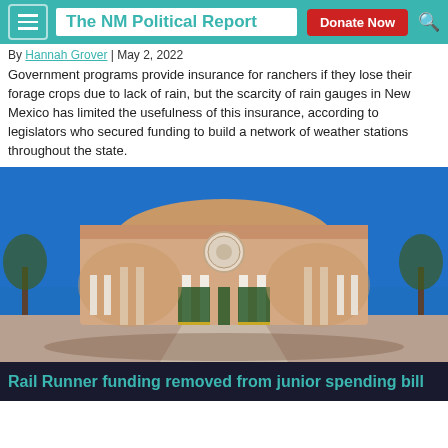The NM Political Report | Donate Now
By Hannah Grover | May 2, 2022
Government programs provide insurance for ranchers if they lose their forage crops due to lack of rain, but the scarcity of rain gauges in New Mexico has limited the usefulness of this insurance, according to legislators who secured funding to build a network of weather stations throughout the state.
[Figure (photo): Front facade of the New Mexico State Capitol building under a clear blue sky, showing the curved Pueblo-style architecture with white columns and the state seal medallion above the entrance.]
Rail Runner funding removed from junior spending bill